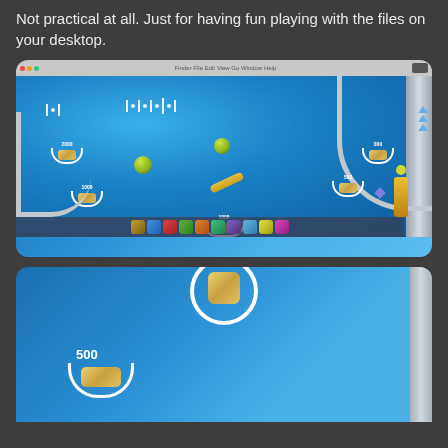Not practical at all. Just for having fun playing with the files on your desktop.
[Figure (screenshot): Screenshot of a desktop pinball game showing a blue pinball table with bumpers, balls, score indicators, and a curved metal rail on the right side. A dock bar is visible at the bottom.]
[Figure (screenshot): Partial screenshot of the same pinball game showing a close-up with a '500' labeled bumper cup and a white ring bumper at the top center, with the metal rail on the right.]